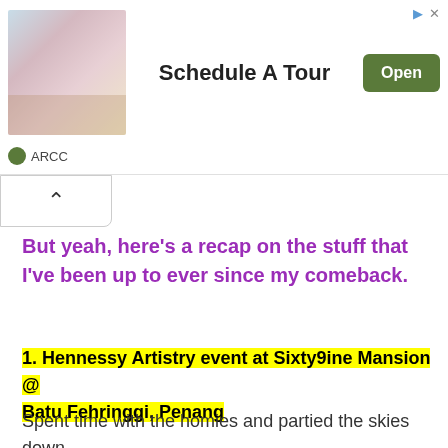[Figure (screenshot): Advertisement banner for 'Schedule A Tour' featuring an image of an event venue with round tables and floral decor, a bold headline, and a green 'Open' button. ARCC branding shown below.]
But yeah, here's a recap on the stuff that I've been up to ever since my comeback.
1. Hennessy Artistry event at Sixty9ine Mansion @ Batu Fehringgi, Penang
Spent time with the homies and partied the skies down.